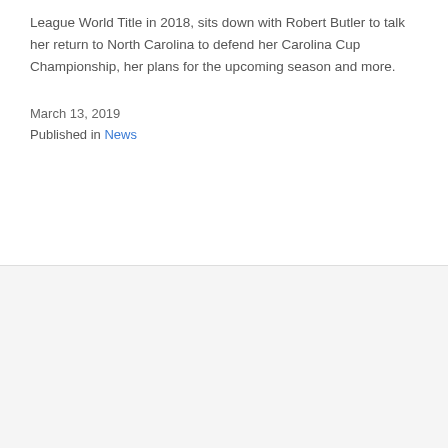League World Title in 2018, sits down with Robert Butler to talk her return to North Carolina to defend her Carolina Cup Championship, her plans for the upcoming season and more.
March 13, 2019
Published in News
[Figure (photo): Aerial view of a person on a white stand-up paddleboard over dark teal ocean water, viewed from directly above.]